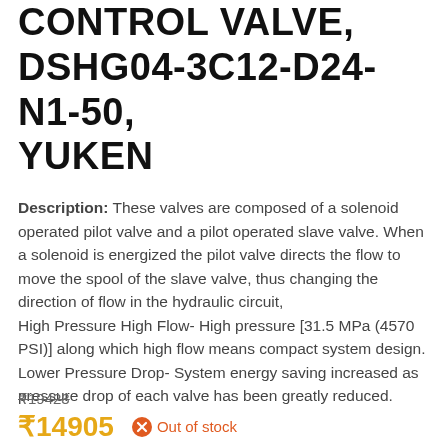CONTROL VALVE, DSHG04-3C12-D24-N1-50, YUKEN
Description: These valves are composed of a solenoid operated pilot valve and a pilot operated slave valve. When a solenoid is energized the pilot valve directs the flow to move the spool of the slave valve, thus changing the direction of flow in the hydraulic circuit, High Pressure High Flow- High pressure [31.5 MPa (4570 PSI)] along which high flow means compact system design. Lower Pressure Drop- System energy saving increased as pressure drop of each valve has been greatly reduced.
₹19423
₹14905  Out of stock